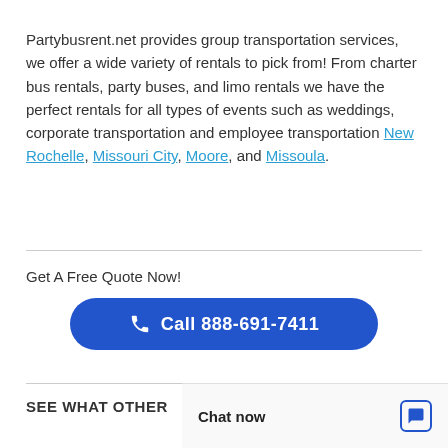Partybusrent.net provides group transportation services, we offer a wide variety of rentals to pick from! From charter bus rentals, party buses, and limo rentals we have the perfect rentals for all types of events such as weddings, corporate transportation and employee transportation New Rochelle, Missouri City, Moore, and Missoula.
Get A Free Quote Now!
[Figure (other): Blue rounded button with phone icon and text 'Call 888-691-7411']
SEE WHAT OTHER
Chat now